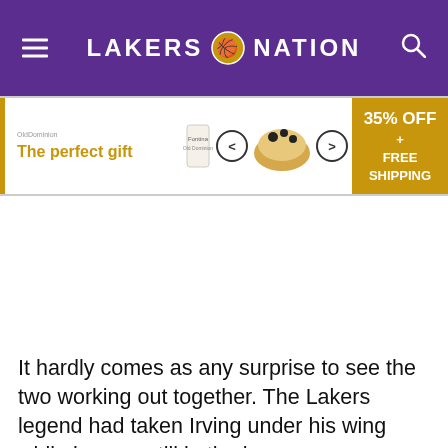LAKERS NATION
[Figure (other): Advertisement banner: 'The perfect gift' with product images of food items and '35% OFF + FREE SHIPPING' offer in gold/yellow color scheme]
It hardly comes as any surprise to see the two working out together. The Lakers legend had taken Irving under his wing while he was still in the league